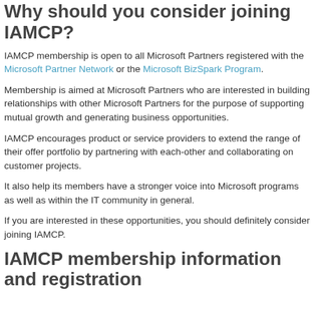Why should you consider joining IAMCP?
IAMCP membership is open to all Microsoft Partners registered with the Microsoft Partner Network or the Microsoft BizSpark Program.
Membership is aimed at Microsoft Partners who are interested in building relationships with other Microsoft Partners for the purpose of supporting mutual growth and generating business opportunities.
IAMCP encourages product or service providers to extend the range of their offer portfolio by partnering with each-other and collaborating on customer projects.
It also help its members have a stronger voice into Microsoft programs as well as within the IT community in general.
If you are interested in these opportunities, you should definitely consider joining IAMCP.
IAMCP membership information and registration